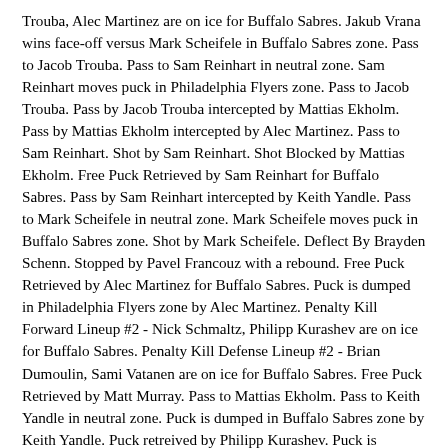Trouba, Alec Martinez are on ice for Buffalo Sabres. Jakub Vrana wins face-off versus Mark Scheifele in Buffalo Sabres zone. Pass to Jacob Trouba. Pass to Sam Reinhart in neutral zone. Sam Reinhart moves puck in Philadelphia Flyers zone. Pass to Jacob Trouba. Pass by Jacob Trouba intercepted by Mattias Ekholm. Pass by Mattias Ekholm intercepted by Alec Martinez. Pass to Sam Reinhart. Shot by Sam Reinhart. Shot Blocked by Mattias Ekholm. Free Puck Retrieved by Sam Reinhart for Buffalo Sabres. Pass by Sam Reinhart intercepted by Keith Yandle. Pass to Mark Scheifele in neutral zone. Mark Scheifele moves puck in Buffalo Sabres zone. Shot by Mark Scheifele. Deflect By Brayden Schenn. Stopped by Pavel Francouz with a rebound. Free Puck Retrieved by Alec Martinez for Buffalo Sabres. Puck is dumped in Philadelphia Flyers zone by Alec Martinez. Penalty Kill Forward Lineup #2 - Nick Schmaltz, Philipp Kurashev are on ice for Buffalo Sabres. Penalty Kill Defense Lineup #2 - Brian Dumoulin, Sami Vatanen are on ice for Buffalo Sabres. Free Puck Retrieved by Matt Murray. Pass to Mattias Ekholm. Pass to Keith Yandle in neutral zone. Puck is dumped in Buffalo Sabres zone by Keith Yandle. Puck retreived by Philipp Kurashev. Puck is dumped in Philadelphia Flyers zone by Philipp Kurashev. Free Puck Retrieved by Matt Murray. Pass to Nikolaj Ehlers. Pass to Brayden Schenn in neutral zone. Pass to Mark Scheifele.
Time : 9. Pass to Brayden Schenn in Buffalo Sabres zone. Puck is